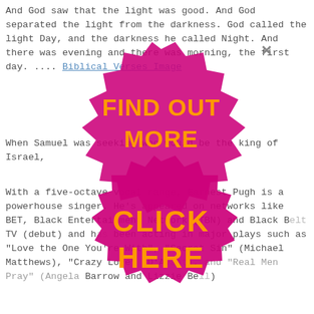And God saw that the light was good. And God separated the light from the darkness. God called the light Day, and the darkness he called Night. And there was evening and there was morning, the first day. .... Biblical Verses Image
When Samuel was seeking who would be the king of Israel,
With a five-octave vocal range, Earnest Pugh is a powerhouse singer. He's appeared on networks like BET, Black Entertainment Network (TBN) and Black Belt TV (debut) and has been acting in major plays such as "Love the One You're With", "Secret Sin" (Michael Matthews), "Crazy Love" (D'Avant), and "Real Men Pray" (Angela Barrow and Lizzie Bell).
This is a list of Christian music singers or bands. This list includes artists who have recorded or been known to perform Christian music at some point in their career. Church leaders, Christian music ministers, and Christian music artists. It is not a list of other music artists alone. Corinthians 15:1 Just as we proclaimed to you, we shall also be... I shall tell you this, brothers... kingdom of
[Figure (other): A large magenta/pink gear-shaped badge overlay with bold orange text reading 'FIND OUT MORE' at the top and 'CLICK HERE' in the center, semi-transparent over the page text. A small X close button appears at top right.]